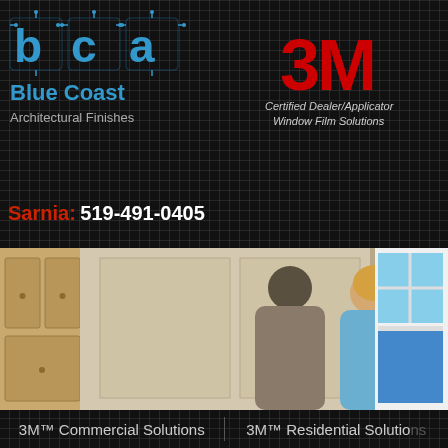[Figure (logo): BCA Blue Coast Architectural Finishes logo — stylized blue letters b, c, a with circuit-board style lines, and text 'Blue Coast Architectural Finishes' in blue below]
[Figure (logo): 3M logo in red with text 'Certified Dealer/Applicator Window Film Solutions' below in italic gray]
Sarnia: 519-491-0405
[Figure (photo): Photo of a couple embracing and smiling indoors, with window and blue water view in background]
3M™ Commercial Solutions
3M™ Residential Solutions